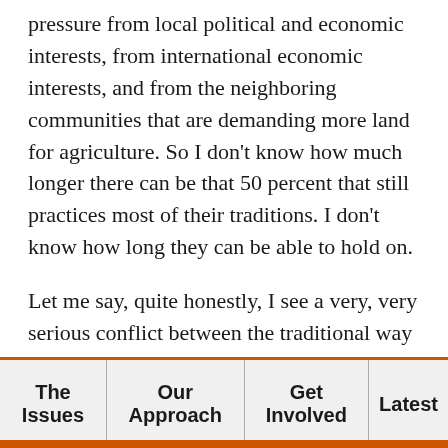pressure from local political and economic interests, from international economic interests, and from the neighboring communities that are demanding more land for agriculture. So I don't know how much longer there can be that 50 percent that still practices most of their traditions. I don't know how long they can be able to hold on.
Let me say, quite honestly, I see a very, very serious conflict between the traditional way of life and the modern political system. And I say a very serious conflict because, first of all, let us understand that the Maasai had their own way of doing things. They had a different type of economic system and form of livestock
The Issues | Our Approach | Get Involved | Latest